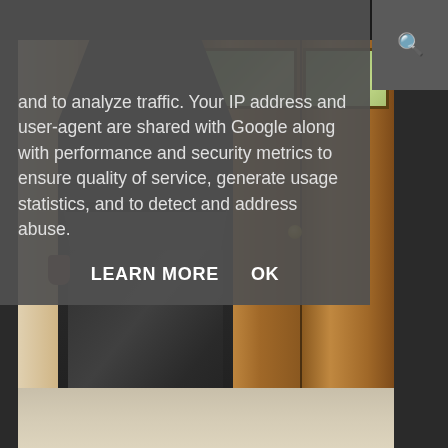and to analyze traffic. Your IP address and user-agent are shared with Google along with performance and security metrics to ensure quality of service, generate usage statistics, and to detect and address abuse.
LEARN MORE    OK
[Figure (photo): Person wearing a dark grey peplum jacket and matching midi skirt, standing in front of wooden paneled doors with stained glass inserts. The outfit appears to be a coordinated suit set.]